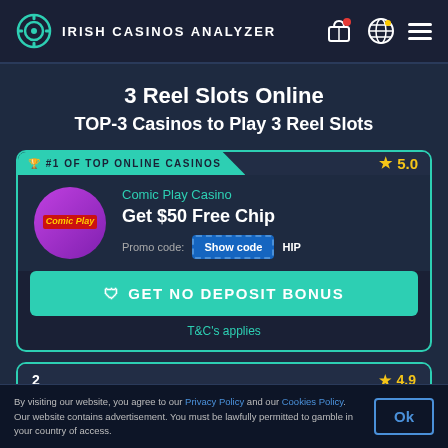IRISH CASINOS ANALYZER
3 Reel Slots Online
TOP-3 Casinos to Play 3 Reel Slots
#1 OF TOP ONLINE CASINOS — Rating: 5.0 — Comic Play Casino — Get $50 Free Chip — Promo code: Show code HIP — GET NO DEPOSIT BONUS — T&C's applies
2 — Rating: 4.9
By visiting our website, you agree to our Privacy Policy and our Cookies Policy. Our website contains advertisement. You must be lawfully permitted to gamble in your country of access.